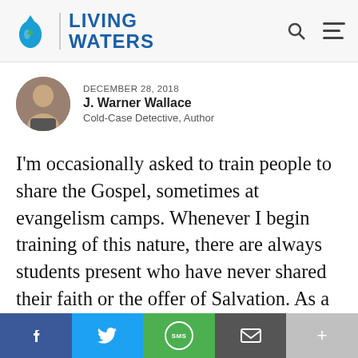LIVING WATERS
DECEMBER 28, 2018
J. Warner Wallace
Cold-Case Detective, Author
I'm occasionally asked to train people to share the Gospel, sometimes at evangelism camps. Whenever I begin training of this nature, there are always students present who have never shared their faith or the offer of Salvation. As a result, there is
f  (Twitter)  SMS  (Email)  +